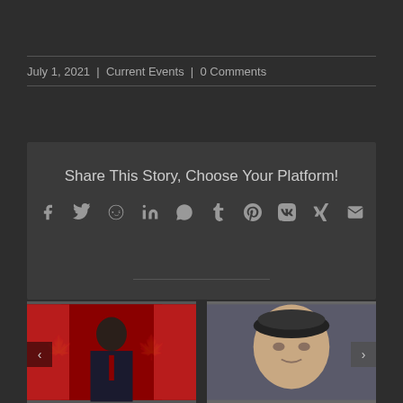July 1, 2021 | Current Events | 0 Comments
Share This Story, Choose Your Platform!
[Figure (infographic): Social media share icons: Facebook, Twitter, Reddit, LinkedIn, WhatsApp, Tumblr, Pinterest, VK, XING, Email]
[Figure (photo): Two photos side by side: left shows a man in a suit speaking in front of Canadian flags, right shows an older man wearing a black beret]
[Figure (photo): Navigation arrows for a carousel]